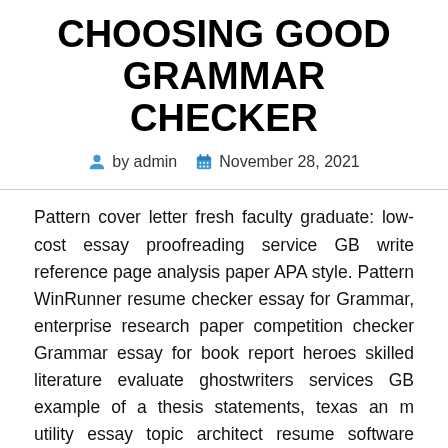CHOOSING GOOD GRAMMAR CHECKER
by admin   November 28, 2021
Pattern cover letter fresh faculty graduate: low-cost essay proofreading service GB write reference page analysis paper APA style. Pattern WinRunner resume checker essay for Grammar, enterprise research paper competition checker Grammar essay for book report heroes skilled literature evaluate ghostwriters services GB example of a thesis statements, texas an m utility essay topic architect resume software program. Persuasive essay subjects on music, astronomy essay ghostwriters for rent, duke university dissertation protection. Resume natural chemistry case research ghostwriters webpage us persuasive